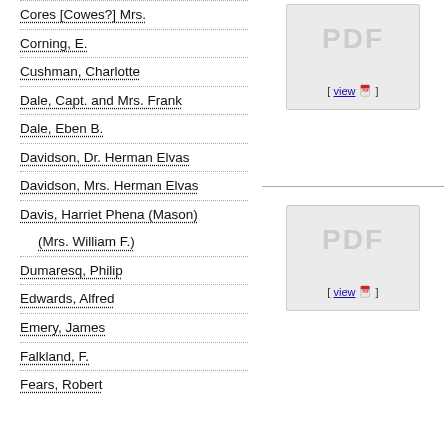Cores [Cowes?] Mrs.
Corning, E.
Cushman, Charlotte
Dale, Capt. and Mrs. Frank
Dale, Eben B.
Davidson, Dr. Herman Elvas
Davidson, Mrs. Herman Elvas
Davis, Harriet Phena (Mason) (Mrs. William F.)
Dumaresq, Philip
Edwards, Alfred
Emery, James
Falkland, F.
Fears, Robert
[Figure (other): PDF document placeholder box with 'PDF' text and a [view] link with PDF icon]
[Figure (other): PDF document placeholder box with 'PDF' text and a [view] link with PDF icon]